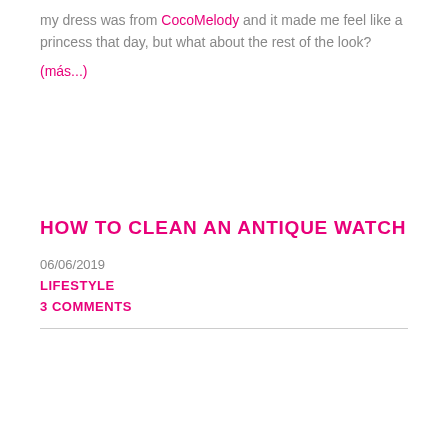my dress was from CocoMelody and it made me feel like a princess that day, but what about the rest of the look?
(más...)
HOW TO CLEAN AN ANTIQUE WATCH
06/06/2019
LIFESTYLE
3 COMMENTS